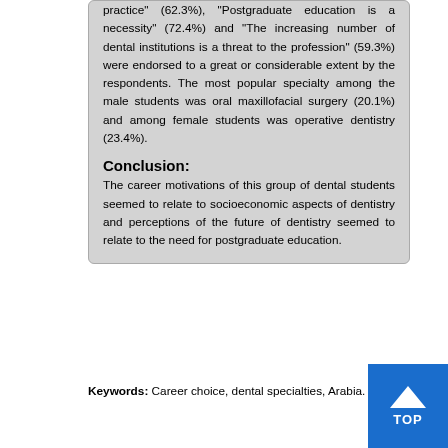practice" (62.3%), "Postgraduate education is a necessity" (72.4%) and "The increasing number of dental institutions is a threat to the profession" (59.3%) were endorsed to a great or considerable extent by the respondents. The most popular specialty among the male students was oral maxillofacial surgery (20.1%) and among female students was operative dentistry (23.4%).
Conclusion:
The career motivations of this group of dental students seemed to relate to socioeconomic aspects of dentistry and perceptions of the future of dentistry seemed to relate to the need for postgraduate education.
Keywords: Career choice, dental specialties, Arabia.